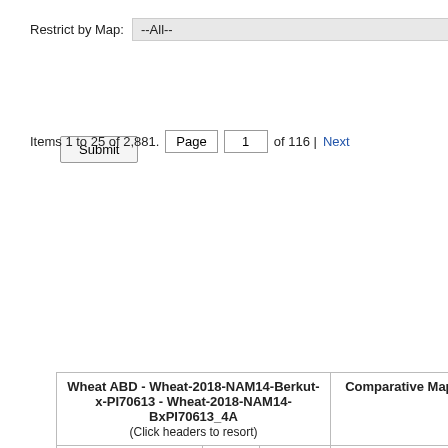Restrict by Map: --All--
Submit
Items 1 to 25 of 2,881. Page 1 of 116 | Next
| Wheat ABD - Wheat-2018-NAM14-Berkut-x-PI70613 - Wheat-2018-NAM14-BxPI70613_4A (Click headers to resort) | Comparative Maps |
| --- | --- |
| Feature | Type | Position () | Map |
|  | Wheat ABD - Wheat-2018-NAM30-Berkut-x-PI278297 - Wheat-2018-NAM30-BxPI278297... |
|  | Wheat ABD - Wheat-2018-NAM11-Berkut-x-Cltr - Wheat-2018-NAM11-BxCltr4175_4A |
|  | Wheat ABD - Wheat-2018-NAM24-Berkut-x-PI192147 - Wh... |